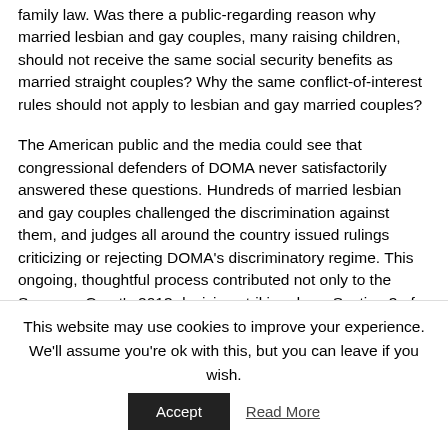family law.  Was there a public-regarding reason why married lesbian and gay couples, many raising children, should not receive the same social security benefits as married straight couples? Why the same conflict-of-interest rules should not apply to lesbian and gay married couples?
The American public and the media could see that congressional defenders of DOMA never satisfactorily answered these questions. Hundreds of married lesbian and gay couples challenged the discrimination against them, and judges all around the country issued rulings criticizing or rejecting DOMA's discriminatory regime. This ongoing, thoughtful process contributed not only to the Supreme Court's 2013 decision striking down Section 3 of DOMA
This website may use cookies to improve your experience. We'll assume you're ok with this, but you can leave if you wish.